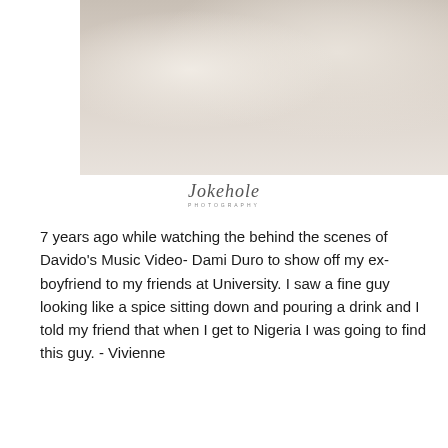[Figure (photo): Couple photo shoot in white clothing, lying/reclining pose, light background]
Jokhole Photography watermark signature
7 years ago while watching the behind the scenes of Davido's Music Video- Dami Duro to show off my ex-boyfriend to my friends at University. I saw a fine guy looking like a spice sitting down and pouring a drink and I told my friend that when I get to Nigeria I was going to find this guy. - Vivienne
[Figure (photo): Couple portrait photo against dark grey background, woman leaning on man]